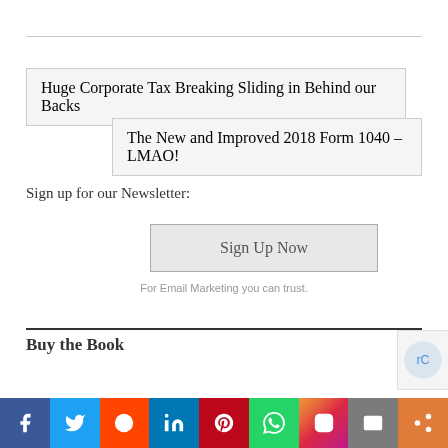Huge Corporate Tax Breaking Sliding in Behind our Backs
The New and Improved 2018 Form 1040 – LMAO!
Sign up for our Newsletter:
[Figure (other): Sign Up Now button for email newsletter]
For Email Marketing you can trust.
Buy the Book
[Figure (other): Social sharing bar with icons: Facebook, Twitter, Reddit, LinkedIn, Pinterest, WhatsApp, Instagram, Email, Share]